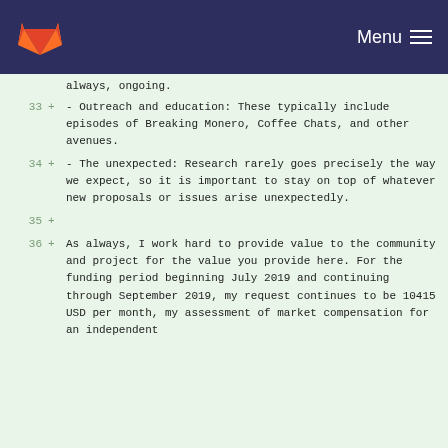GitLab navigation bar with logo and Menu button
always, ongoing.
33 + - Outreach and education: These typically include episodes of Breaking Monero, Coffee Chats, and other avenues.
34 + - The unexpected: Research rarely goes precisely the way we expect, so it is important to stay on top of whatever new proposals or issues arise unexpectedly.
35 +
36 + As always, I work hard to provide value to the community and project for the value you provide here. For the funding period beginning July 2019 and continuing through September 2019, my request continues to be 10415 USD per month, my assessment of market compensation for an independent